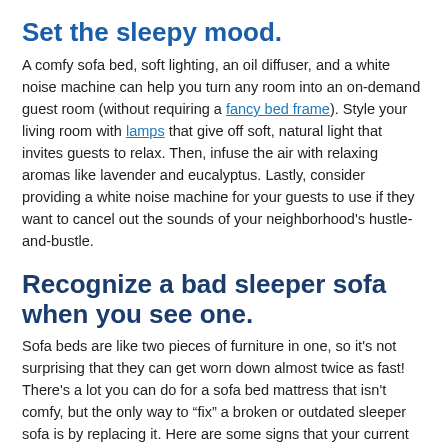Set the sleepy mood.
A comfy sofa bed, soft lighting, an oil diffuser, and a white noise machine can help you turn any room into an on-demand guest room (without requiring a fancy bed frame). Style your living room with lamps that give off soft, natural light that invites guests to relax. Then, infuse the air with relaxing aromas like lavender and eucalyptus. Lastly, consider providing a white noise machine for your guests to use if they want to cancel out the sounds of your neighborhood's hustle-and-bustle.
Recognize a bad sleeper sofa when you see one.
Sofa beds are like two pieces of furniture in one, so it's not surprising that they can get worn down almost twice as fast! There's a lot you can do for a sofa bed mattress that isn't comfy, but the only way to “fix” a broken or outdated sleeper sofa is by replacing it. Here are some signs that your current sofa bed needs an upgrade: